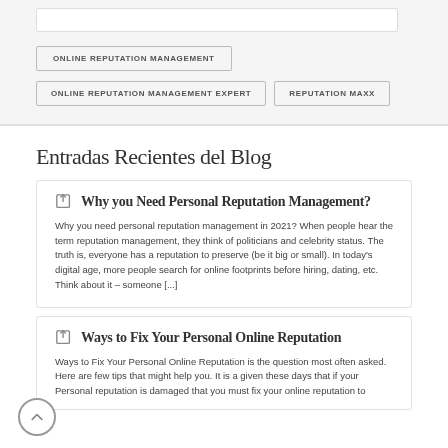ONLINE REPUTATION MANAGEMENT
ONLINE REPUTATION MANAGEMENT EXPERT
REPUTATION MAXX
Entradas Recientes del Blog
Why you Need Personal Reputation Management?
Why you need personal reputation management in 2021? When people hear the term reputation management, they think of politicians and celebrity status. The truth is, everyone has a reputation to preserve (be it big or small). In today's digital age, more people search for online footprints before hiring, dating, etc. Think about it – someone [...]
Ways to Fix Your Personal Online Reputation
Ways to Fix Your Personal Online Reputation is the question most often asked. Here are few tips that might help you. It is a given these days that if your Personal reputation is damaged that you must fix your online reputation to